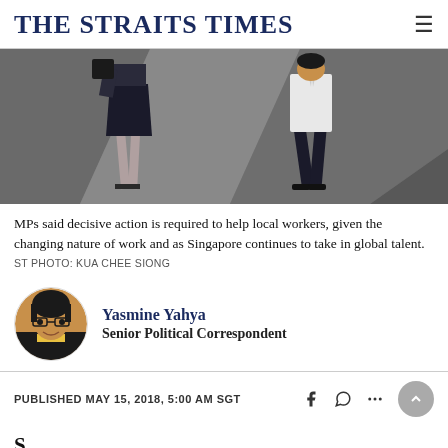THE STRAITS TIMES
[Figure (photo): Overhead view of two people walking on a geometric tiled floor. One person on the left wears a dark skirt and heels, the other on the right wears a white shirt and dark trousers.]
MPs said decisive action is required to help local workers, given the changing nature of work and as Singapore continues to take in global talent.  ST PHOTO: KUA CHEE SIONG
Yasmine Yahya
Senior Political Correspondent
PUBLISHED MAY 15, 2018, 5:00 AM SGT